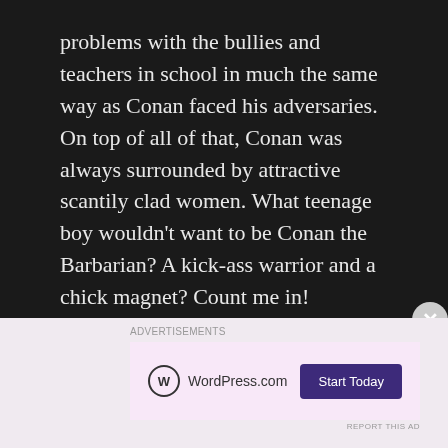problems with the bullies and teachers in school in much the same way as Conan faced his adversaries. On top of all of that, Conan was always surrounded by attractive scantily clad women. What teenage boy wouldn't want to be Conan the Barbarian? A kick-ass warrior and a chick magnet? Count me in!
[Figure (screenshot): Advertisement banner for Pocket Casts podcast app. Shows a dark phone screenshot on the left, with text 'Your next favorite podcast is here.' and Pocket Casts logo on the right.]
Red Sonja
[Figure (screenshot): Advertisement banner for WordPress.com showing logo on left and 'Start Today' button on the right, on a pink/lavender background.]